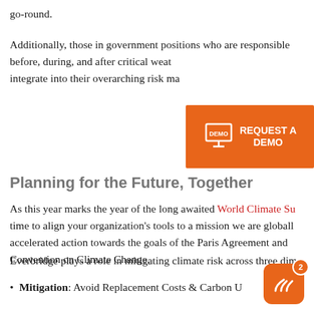go-round.
Additionally, those in government positions who are responsible before, during, and after critical weather events need to integrate into their overarching risk management.
[Figure (infographic): Orange banner overlay with monitor/demo icon and text 'REQUEST A DEMO']
Planning for the Future, Together
As this year marks the year of the long awaited World Climate Su time to align your organization's tools to a mission we are globally accelerated action towards the goals of the Paris Agreement and Convention on Climate Change.
Everbridge plays a role in mitigating climate risk across three dim
Mitigation: Avoid Replacement Costs & Carbon U
[Figure (logo): Everbridge app icon, orange rounded square with white wave/mountain lines and notification badge showing 2]